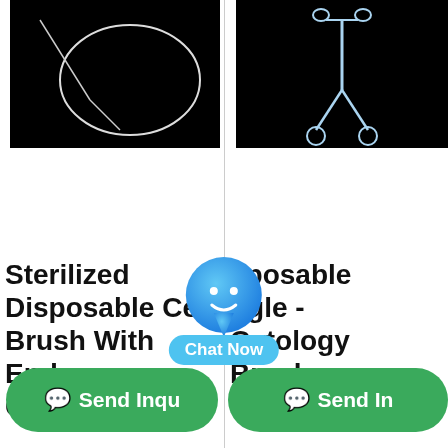[Figure (photo): Product image of sterilized disposable cell brush with endoscopy - white loop/wire on black background]
[Figure (photo): Product image of disposable single-use cytology brushes - forceps/clamp tool with small rings on black background]
Sterilized Disposable Cell Brush With Endoscopy CE/ISO134
Disposable Single - Cytology Brushes With U.
Send Inqu
Send In
[Figure (other): Chat Now overlay button with blue location pin icon and Chat Now label]